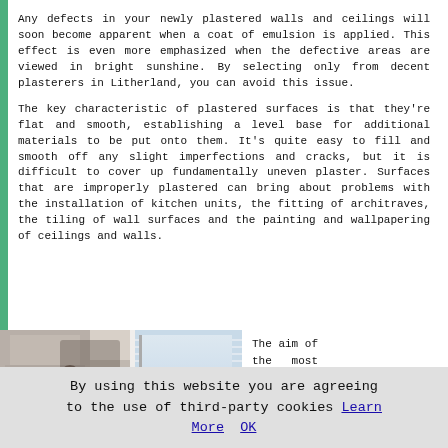Any defects in your newly plastered walls and ceilings will soon become apparent when a coat of emulsion is applied. This effect is even more emphasized when the defective areas are viewed in bright sunshine. By selecting only from decent plasterers in Litherland, you can avoid this issue.
The key characteristic of plastered surfaces is that they're flat and smooth, establishing a level base for additional materials to be put onto them. It's quite easy to fill and smooth off any slight imperfections and cracks, but it is difficult to cover up fundamentally uneven plaster. Surfaces that are improperly plastered can bring about problems with the installation of kitchen units, the fitting of architraves, the tiling of wall surfaces and the painting and wallpapering of ceilings and walls.
[Figure (photo): A person plastering a wall/ceiling in a room with a window visible on the right side showing white blinds.]
The aim of the most sought after Litherland plasterers is to get
By using this website you are agreeing to the use of third-party cookies Learn More OK